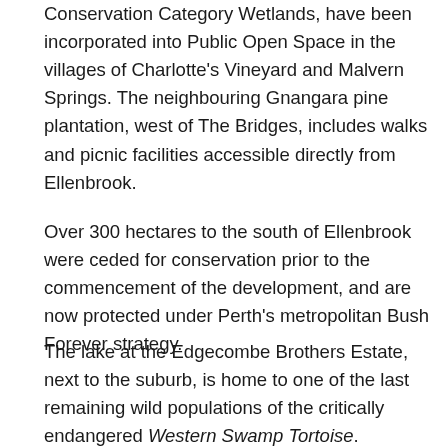Conservation Category Wetlands, have been incorporated into Public Open Space in the villages of Charlotte's Vineyard and Malvern Springs. The neighbouring Gnangara pine plantation, west of The Bridges, includes walks and picnic facilities accessible directly from Ellenbrook.
Over 300 hectares to the south of Ellenbrook were ceded for conservation prior to the commencement of the development, and are now protected under Perth's metropolitan Bush Forever strategy.
The lake at the Edgecombe Brothers Estate, next to the suburb, is home to one of the last remaining wild populations of the critically endangered Western Swamp Tortoise.